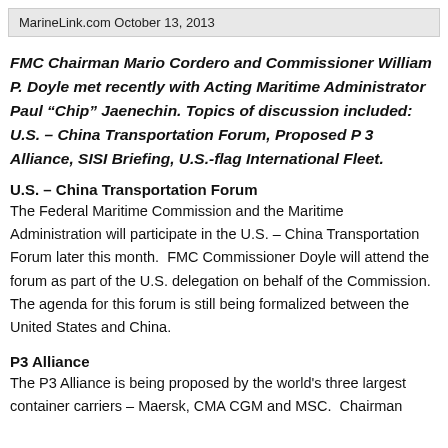MarineLink.com October 13, 2013
FMC Chairman Mario Cordero and Commissioner William P. Doyle met recently with Acting Maritime Administrator Paul “Chip” Jaenechin. Topics of discussion included: U.S. – China Transportation Forum, Proposed P 3 Alliance, SISI Briefing, U.S.-flag International Fleet.
U.S. – China Transportation Forum
The Federal Maritime Commission and the Maritime Administration will participate in the U.S. – China Transportation Forum later this month.  FMC Commissioner Doyle will attend the forum as part of the U.S. delegation on behalf of the Commission.  The agenda for this forum is still being formalized between the United States and China.
P3 Alliance
The P3 Alliance is being proposed by the world's three largest container carriers – Maersk, CMA CGM and MSC.  Chairman